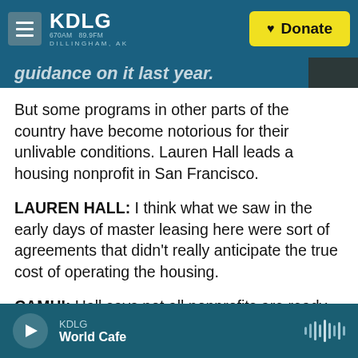KDLG 670AM 89.9FM DILLINGHAM, AK — Donate
guidance on it last year.
But some programs in other parts of the country have become notorious for their unlivable conditions. Lauren Hall leads a housing nonprofit in San Francisco.
LAUREN HALL: I think what we saw in the early days of master leasing here were sort of agreements that didn't really anticipate the true cost of operating the housing.
CAMHI: Hall says not all nonprofits are ready to be good landlords. Some organizations don't have the
KDLG — World Cafe